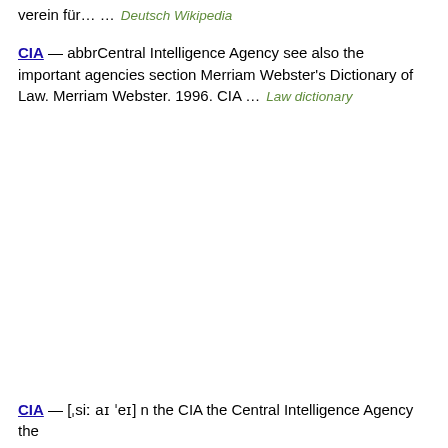verein für… …    Deutsch Wikipedia
CIA — abbrCentral Intelligence Agency see also the important agencies section Merriam Webster's Dictionary of Law. Merriam Webster. 1996. CIA …    Law dictionary
CIA — [ˌsiː aɪ ˈeɪ] n the CIA the Central Intelligence Agency the